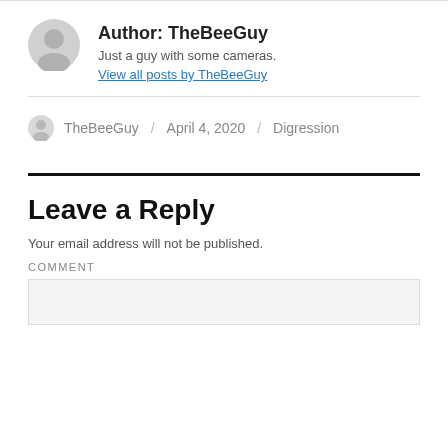Author: TheBeeGuy
Just a guy with some cameras.
View all posts by TheBeeGuy
TheBeeGuy / April 4, 2020 / Digression
Leave a Reply
Your email address will not be published.
COMMENT